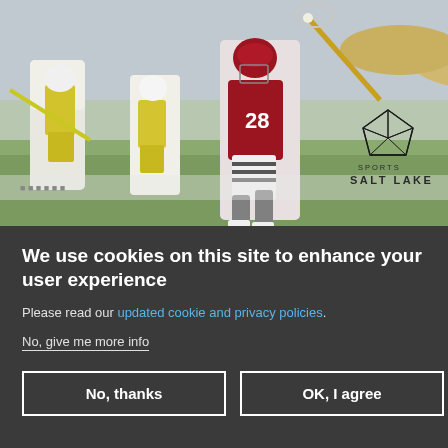[Figure (photo): Lacrosse game action photo showing players in red/maroon and yellow/green uniforms competing on a field, with Sports Salt Lake logo overlay in bottom right corner]
We use cookies on this site to enhance your user experience
Please read our updated cookie and privacy policies.
No, give me more info
No, thanks
OK, I agree